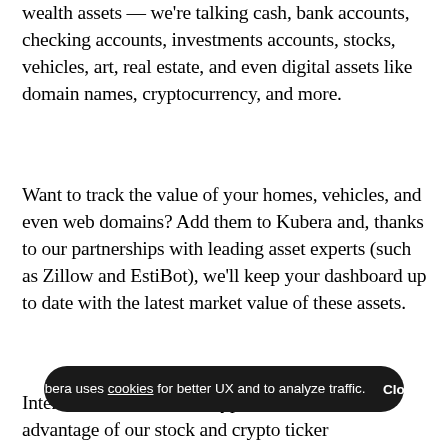wealth assets — we're talking cash, bank accounts, checking accounts, investments accounts, stocks, vehicles, art, real estate, and even digital assets like domain names, cryptocurrency, and more.
Want to track the value of your homes, vehicles, and even web domains? Add them to Kubera and, thanks to our partnerships with leading asset experts (such as Zillow and EstiBot), we'll keep your dashboard up to date with the latest market value of these assets.
Interested in stocks and cryptocurrencies? Take advantage of our stock and crypto ticker functionality so you can always make the smartest p...
Kubera uses cookies for better UX and to analyze traffic. Close